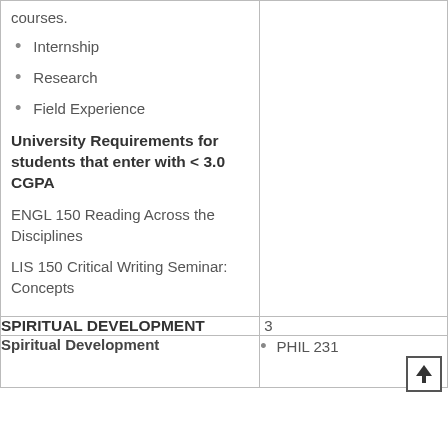courses.
Internship
Research
Field Experience
University Requirements for students that enter with < 3.0 CGPA
ENGL 150 Reading Across the Disciplines
LIS 150 Critical Writing Seminar: Concepts
| SPIRITUAL DEVELOPMENT | 3 |
| --- | --- |
| Spiritual Development | PHIL 231 |
| --- | --- |